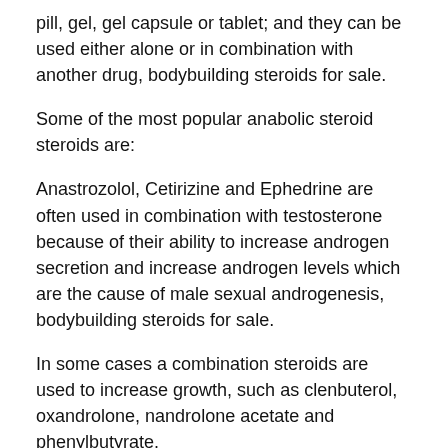pill, gel, gel capsule or tablet; and they can be used either alone or in combination with another drug, bodybuilding steroids for sale.
Some of the most popular anabolic steroid steroids are:
Anastrozolol, Cetirizine and Ephedrine are often used in combination with testosterone because of their ability to increase androgen secretion and increase androgen levels which are the cause of male sexual androgenesis, bodybuilding steroids for sale.
In some cases a combination steroids are used to increase growth, such as clenbuterol, oxandrolone, nandrolone acetate and phenylbutyrate.
The most commonly used steroids use is dihydrotestosterone (DHT), testosterone and